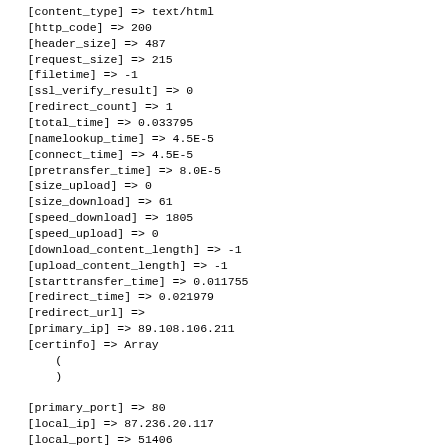[content_type] => text/html
    [http_code] => 200
    [header_size] => 487
    [request_size] => 215
    [filetime] => -1
    [ssl_verify_result] => 0
    [redirect_count] => 1
    [total_time] => 0.033795
    [namelookup_time] => 4.5E-5
    [connect_time] => 4.5E-5
    [pretransfer_time] => 8.0E-5
    [size_upload] => 0
    [size_download] => 61
    [speed_download] => 1805
    [speed_upload] => 0
    [download_content_length] => -1
    [upload_content_length] => -1
    [starttransfer_time] => 0.011755
    [redirect_time] => 0.021979
    [redirect_url] =>
    [primary_ip] => 89.108.106.211
    [certinfo] => Array
        (
        )

    [primary_port] => 80
    [local_ip] => 87.236.20.117
    [local_port] => 51406
)

2016/10/20 00:59:07